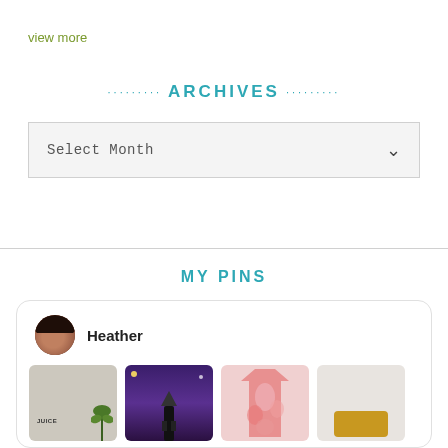view more
......... ARCHIVES .........
[Figure (screenshot): A dropdown select box labeled 'Select Month' with a chevron arrow on the right, on a light gray background]
MY PINS
[Figure (screenshot): A Pinterest-style card showing user 'Heather' with a profile photo and four thumbnail images below: a room photo, a purple nighttime scene, a pink tie-dye shirt, and a partially visible fourth image]